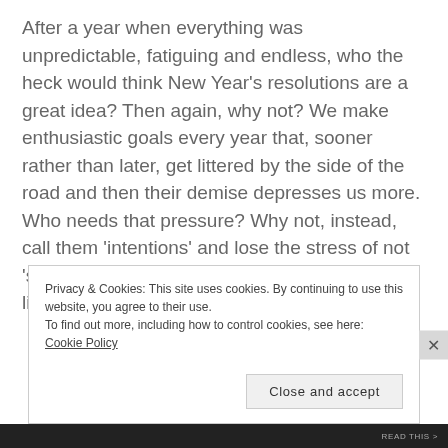After a year when everything was unpredictable, fatiguing and endless, who the heck would think New Year's resolutions are a great idea? Then again, why not? We make enthusiastic goals every year that, sooner rather than later, get littered by the side of the road and then their demise depresses us more. Who needs that pressure? Why not, instead, call them 'intentions' and lose the stress of not 'succeeding'? It's never been about the finish line, but the 'intent' anyway.
Privacy & Cookies: This site uses cookies. By continuing to use this website, you agree to their use. To find out more, including how to control cookies, see here: Cookie Policy
Close and accept